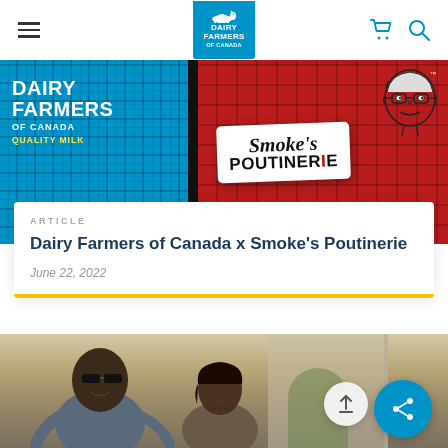Dairy Farmers of Canada — navigation bar with hamburger menu, logo, cart and search icons
[Figure (photo): Hero banner image showing Dairy Farmers of Canada x Smoke's Poutinerie co-branded graphic with blue plaid background on left half featuring white DAIRY FARMERS OF CANADA QUALITY MILK text, and red plaid background on right half featuring Smoke's Poutinerie logo sign and illustrated man face in top right corner]
ARTICLE
Dairy Farmers of Canada x Smoke's Poutinerie
June 22, 2022
[Figure (photo): Bottom portion of page showing a photo of two people (a man in sunglasses and dark t-shirt, and a woman) outdoors with a building in the background; floating scroll-to-top button and blue share button visible in bottom right corner]